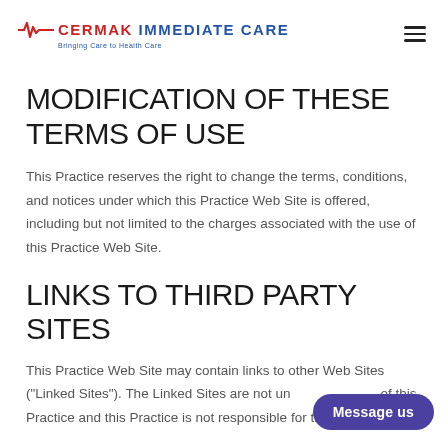CERMAK IMMEDIATE CARE — Bringing Care to Health Care
MODIFICATION OF THESE TERMS OF USE
This Practice reserves the right to change the terms, conditions, and notices under which this Practice Web Site is offered, including but not limited to the charges associated with the use of this Practice Web Site.
LINKS TO THIRD PARTY SITES
This Practice Web Site may contain links to other Web Sites ("Linked Sites"). The Linked Sites are not under the control of this Practice and this Practice is not responsible for the